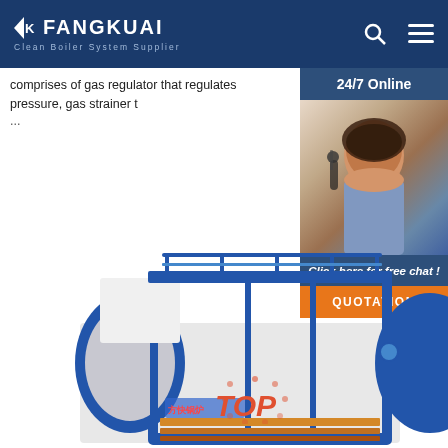FANGKUAI - Clean Boiler System Supplier
comprises of gas regulator that regulates pressure, gas strainer t...
[Figure (photo): Customer service representative with headset, 24/7 Online chat widget with QUOTATION button]
[Figure (photo): Industrial gas boiler unit in blue and white, shown at bottom of page with FANGKUAI branding and TOP badge overlay]